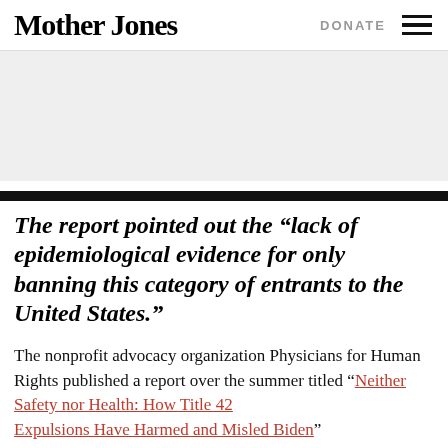Mother Jones  DONATE
[Figure (other): Gray advertisement placeholder banner]
The report pointed out the “lack of epidemiological evidence for only banning this category of entrants to the United States.”
The nonprofit advocacy organization Physicians for Human Rights published a report over the summer titled “Neither Safety nor Health: How Title 42 Expulsions Have Harmed and Misled Biden”